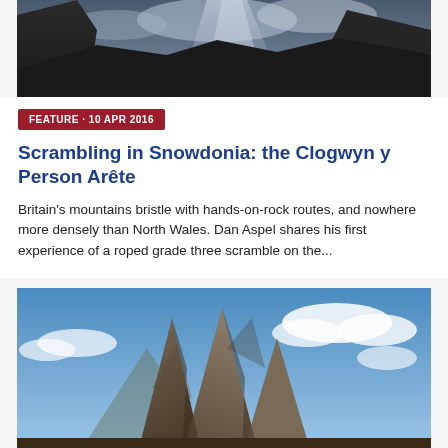[Figure (photo): Mountain landscape with dramatic sky, dark rocky cliffs and light rays]
FEATURE · 10 APR 2016
Scrambling in Snowdonia: the Clogwyn y Person Arête
Britain's mountains bristle with hands-on-rock routes, and nowhere more densely than North Wales. Dan Aspel shares his first experience of a roped grade three scramble on the...
[Figure (photo): Rocky mountain peaks (Dolomites-style) rising against a blue sky with white clouds]